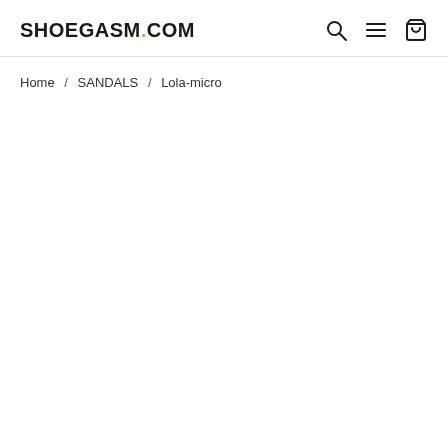SHOEGASM.COM
Home / SANDALS / Lola-micro